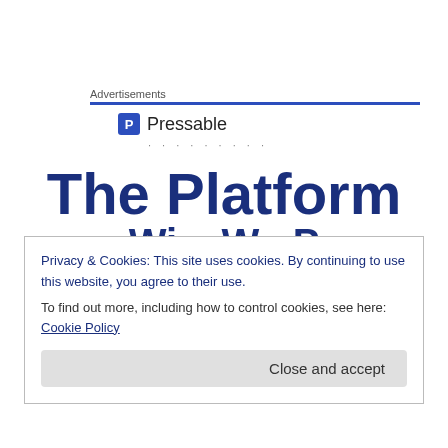Advertisements
[Figure (logo): Pressable logo with blue square P icon and text 'Pressable' followed by a row of dots]
The Platform
Those who get on top of the role seem to have more focus. They pick three or four initiatives and do them really
Privacy & Cookies: This site uses cookies. By continuing to use this website, you agree to their use.
To find out more, including how to control cookies, see here: Cookie Policy
Close and accept